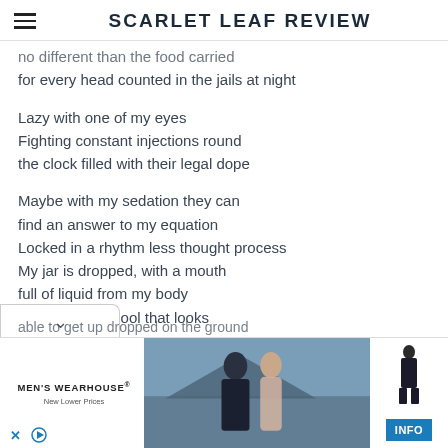SCARLET LEAF REVIEW
no different than the food carried
for every head counted in the jails at night

Lazy with one of my eyes
Fighting constant injections round
the clock filled with their legal dope

Maybe with my sedation they can
find an answer to my equation
Locked in a rhythm less thought process
My jar is dropped, with a mouth
full of liquid from my body
Falling onto a pool that looks
like my chest is
able to get up dropped on the ground
[Figure (photo): Men's Wearhouse advertisement showing a couple dressed formally, man in dark suit and woman in formal dress, with a figure in suit on the right side and an INFO button]